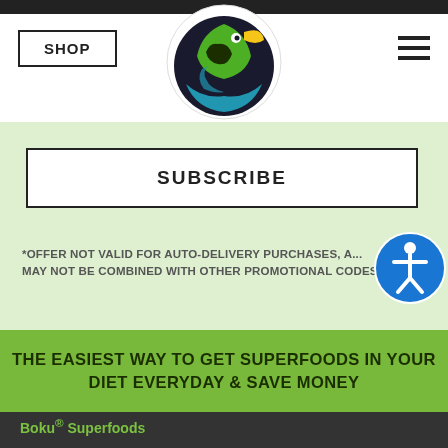[Figure (logo): Boku Superfoods circular logo with colorful bird/leaf design in green, yellow, and blue on dark background]
SHOP | [logo] | [menu]
SUBSCRIBE
*OFFER NOT VALID FOR AUTO-DELIVERY PURCHASES, A... MAY NOT BE COMBINED WITH OTHER PROMOTIONAL CODES
THE EASIEST WAY TO GET SUPERFOODS IN YOUR DIET EVERYDAY & SAVE MONEY
Boku® Superfoods